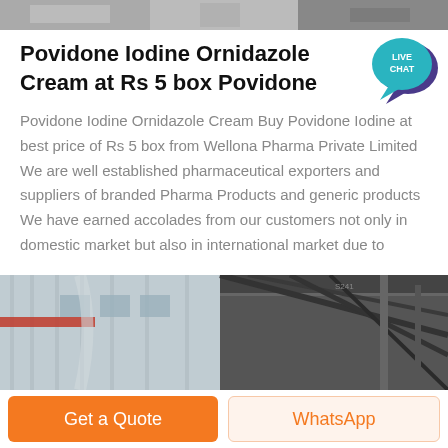[Figure (photo): Top portion of an industrial/manufacturing facility image, cropped strip at the top of the page.]
Povidone Iodine Ornidazole Cream at Rs 5 box Povidone
[Figure (infographic): Live Chat speech bubble badge in teal/purple color with text LIVE CHAT]
Povidone Iodine Ornidazole Cream Buy Povidone Iodine at best price of Rs 5 box from Wellona Pharma Private Limited We are well established pharmaceutical exporters and suppliers of branded Pharma Products and generic products We have earned accolades from our customers not only in domestic market but also in international market due to
[Figure (photo): Interior of a warehouse or manufacturing facility showing structural metal framework, ceiling, and walls.]
Get a Quote
WhatsApp